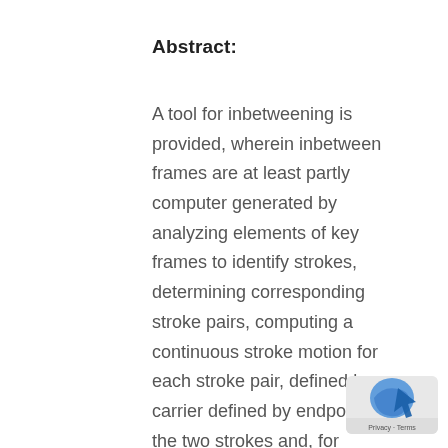Abstract:
A tool for inbetweening is provided, wherein inbetween frames are at least partly computer generated by analyzing elements of key frames to identify strokes, determining corresponding stroke pairs, computing a continuous stroke motion for each stroke pair, defined by a carrier defined by endpoints of the two strokes and, for mutual endpoints, adjusting the continuous stroke motion of the meeting strokes such that the adjustment results in the continuous stroke motion coinciding at the mutual endpoint such that the mutual endpoint would follow the same path and deforming the stroke as it is
[Figure (other): Privacy/Terms badge icon in bottom right corner]